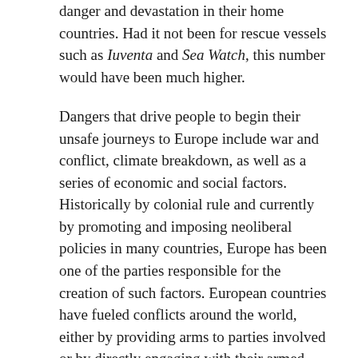danger and devastation in their home countries. Had it not been for rescue vessels such as Iuventa and Sea Watch, this number would have been much higher.
Dangers that drive people to begin their unsafe journeys to Europe include war and conflict, climate breakdown, as well as a series of economic and social factors. Historically by colonial rule and currently by promoting and imposing neoliberal policies in many countries, Europe has been one of the parties responsible for the creation of such factors. European countries have fueled conflicts around the world, either by providing arms to parties involved or by directly engaging with their armed forces, primarily in African countries and in the Middle East – the regions where most migrants traveling through the Mediterranean to Europe today come from.
Also, by taking the lead in the exploitation of natural resources, bearing a great deal of responsibility for